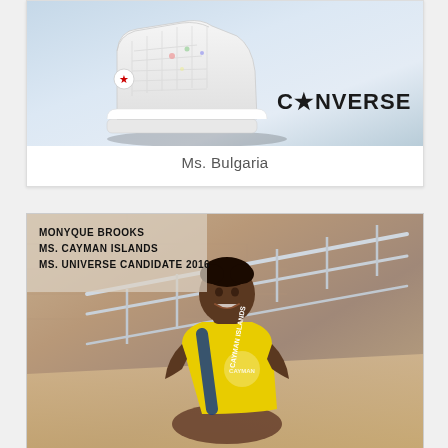[Figure (photo): Converse sneaker advertisement showing a white high-top Converse shoe with the CONVERSE logo in dark text on the lower right.]
Ms. Bulgaria
[Figure (photo): Photo of Monyque Brooks, Ms. Cayman Islands, Ms. Universe Candidate 2016, wearing a yellow Cayman Islands t-shirt with sash, sitting on stairs with stone wall background. Text overlay at top left reads: MONYQUE BROOKS / MS. CAYMAN ISLANDS / MS. UNIVERSE CANDIDATE 2016]